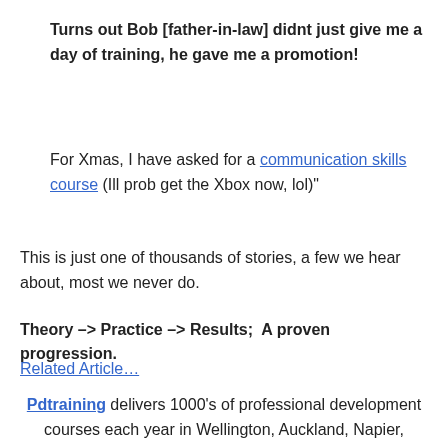Turns out Bob [father-in-law] didnt just give me a day of training, he gave me a promotion!
For Xmas, I have asked for a communication skills course (Ill prob get the Xbox now, lol)"
This is just one of thousands of stories, a few we hear about, most we never do.
Theory –> Practice –> Results;  A proven progression.
Related Article…
Pdtraining delivers 1000's of professional development courses each year in Wellington, Auckland, Napier, Christchurch, Hamilton, Dunedin and Tauranga, so you can be assured your training will be delivered by a qualified and experienced trainer.